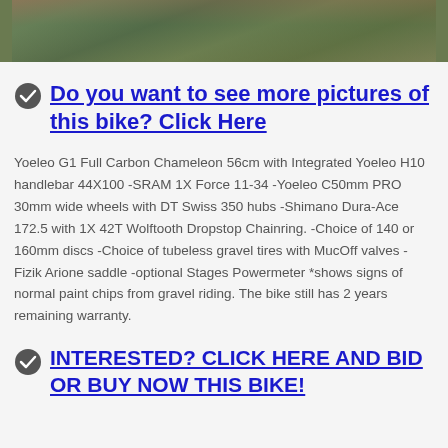[Figure (photo): Partial photo of a bicycle on rocky/mossy gravel ground, cropped at top of page]
Do you want to see more pictures of this bike? Click Here
Yoeleo G1 Full Carbon Chameleon 56cm with Integrated Yoeleo H10 handlebar 44X100 -SRAM 1X Force 11-34 -Yoeleo C50mm PRO 30mm wide wheels with DT Swiss 350 hubs -Shimano Dura-Ace 172.5 with 1X 42T Wolftooth Dropstop Chainring. -Choice of 140 or 160mm discs -Choice of tubeless gravel tires with MucOff valves -Fizik Arione saddle -optional Stages Powermeter *shows signs of normal paint chips from gravel riding. The bike still has 2 years remaining warranty.
INTERESTED? CLICK HERE AND BID OR BUY NOW THIS BIKE!